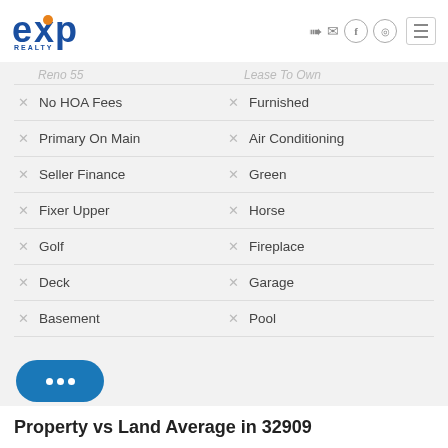eXp Realty header with logo and navigation icons
No HOA Fees
Furnished
Primary On Main
Air Conditioning
Seller Finance
Green
Fixer Upper
Horse
Golf
Fireplace
Deck
Garage
Basement
Pool
Property vs Land Average in 32909